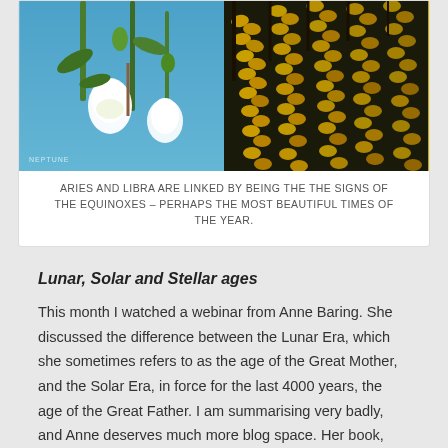[Figure (photo): Two-panel composite photo: left side shows white snowdrop flowers on blue sky background with a watermark text; right side shows yellow laburnum or similar hanging yellow leaf/flower clusters against dark background.]
ARIES AND LIBRA ARE LINKED BY BEING THE THE SIGNS OF THE EQUINOXES – PERHAPS THE MOST BEAUTIFUL TIMES OF THE YEAR.
Lunar, Solar and Stellar ages
This month I watched a webinar from Anne Baring. She discussed the difference between the Lunar Era, which she sometimes refers to as the age of the Great Mother, and the Solar Era, in force for the last 4000 years, the age of the Great Father. I am summarising very badly, and Anne deserves much more blog space. Her book, The Dream of the Cosmos: A Quest for the Soul, which I read a while back after I heard her speak at a conference, is worthy of deep contemplation. However